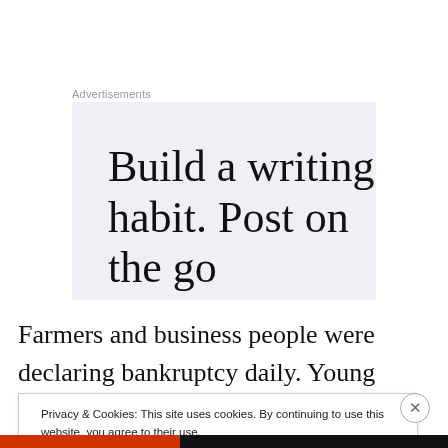Advertisements
[Figure (other): Advertisement banner with text: Build a writing habit. Post on the go]
Farmers and business people were declaring bankruptcy daily. Young people were going from house to house
Privacy & Cookies: This site uses cookies. By continuing to use this website, you agree to their use.
To find out more, including how to control cookies, see here: Cookie Policy